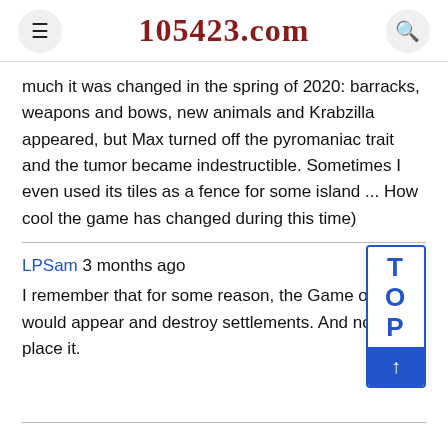105423.com
much it was changed in the spring of 2020: barracks, weapons and bows, new animals and Krabzilla appeared, but Max turned off the pyromaniac trait and the tumor became indestructible. Sometimes I even used its tiles as a fence for some island ... How cool the game has changed during this time)
LPSam 3 months ago
I remember that for some reason, the Game of Li would appear and destroy settlements. And no, i place it.